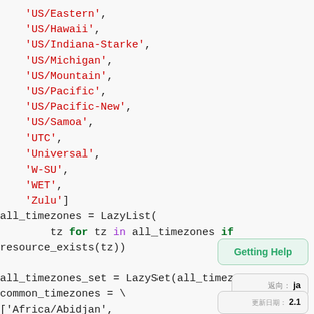Code listing showing Python timezone list and LazyList/LazySet code snippet with Getting Help tooltip, ja annotation, and version 2.1 annotation
[Figure (screenshot): Getting Help tooltip box in green]